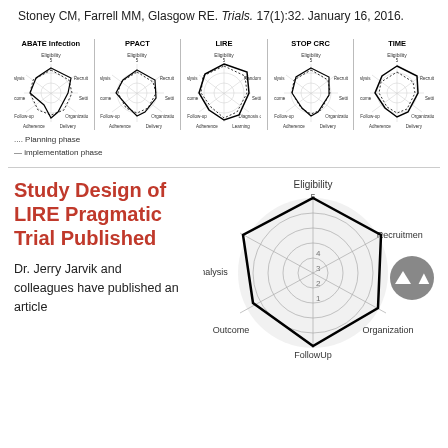Stoney CM, Farrell MM, Glasgow RE. Trials. 17(1):32. January 16, 2016.
[Figure (radar-chart): Five radar/spider charts side by side labeled ABATE Infection, PPACT, LIRE, STOP CRC, TIME, each showing planning phase (dotted) and implementation phase (solid) across dimensions: Eligibility, Recruitment, Randomization, Setting, Organization, Delivery, Adherence, Follow-up, Outcome, Analysis]
.... Planning phase
— implementation phase
Study Design of LIRE Pragmatic Trial Published
Dr. Jerry Jarvik and colleagues have published an article
[Figure (radar-chart): Large radar chart showing LIRE trial study design with axes: Eligibility (5), Recruitment, Setting, Organization, Delivery (implied), Adherence, FollowUp, Outcome, Analysis. Bold solid polygon showing scores approximately 4-5 on most axes.]